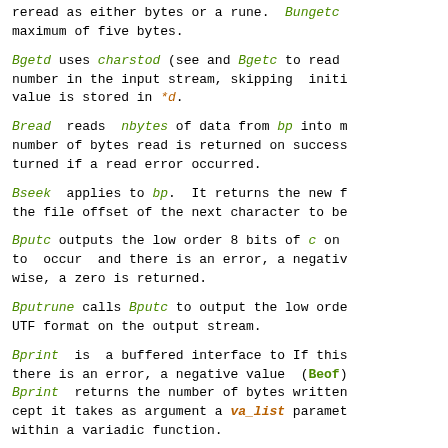reread as either bytes or a rune. Bungetc maximum of five bytes.
Bgetd uses charstod (see and Bgetc to read number in the input stream, skipping initi value is stored in *d.
Bread reads nbytes of data from bp into m number of bytes read is returned on success turned if a read error occurred.
Bseek applies to bp. It returns the new f the file offset of the next character to be
Bputc outputs the low order 8 bits of c on to occur and there is an error, a negativ wise, a zero is returned.
Bputrune calls Bputc to output the low orde UTF format on the output stream.
Bprint is a buffered interface to If this there is an error, a negative value (Beof) Bprint returns the number of bytes written cept it takes as argument a va_list paramet within a variadic function.
Bwrite outputs nbytes of data starting at a